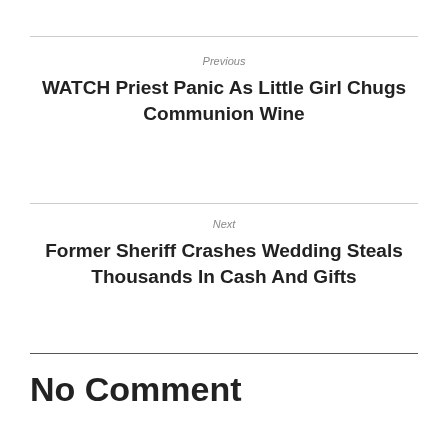Previous
WATCH Priest Panic As Little Girl Chugs Communion Wine
Next
Former Sheriff Crashes Wedding Steals Thousands In Cash And Gifts
No Comment